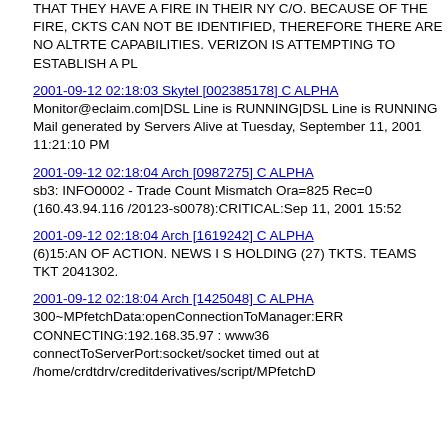THAT THEY HAVE A FIRE IN THEIR NY C/O. BECAUSE OF THE FIRE, CKTS CAN NOT BE IDENTIFIED, THEREFORE THERE ARE NO ALTRTE CAPABILITIES. VERIZON IS ATTEMPTING TO ESTABLISH A PL
2001-09-12 02:18:03 Skytel [002385178] C ALPHA
Monitor@eclaim.com|DSL Line is RUNNING|DSL Line is RUNNING Mail generated by Servers Alive at Tuesday, September 11, 2001 11:21:10 PM
2001-09-12 02:18:04 Arch [0987275] C ALPHA
sb3: INFO0002 - Trade Count Mismatch Ora=825 Rec=0 (160.43.94.116 /20123-s0078):CRITICAL:Sep 11, 2001 15:52
2001-09-12 02:18:04 Arch [1619242] C ALPHA
(6)15:AN OF ACTION. NEWS I S HOLDING (27) TKTS. TEAMS TKT 2041302.
2001-09-12 02:18:04 Arch [1425048] C ALPHA
300~MPfetchData:openConnectionToManager:ERR CONNECTING:192.168.35.97 : www36 connectToServerPort:socket/socket timed out at /home/crdtdrv/creditderivatives/script/MPfetchD